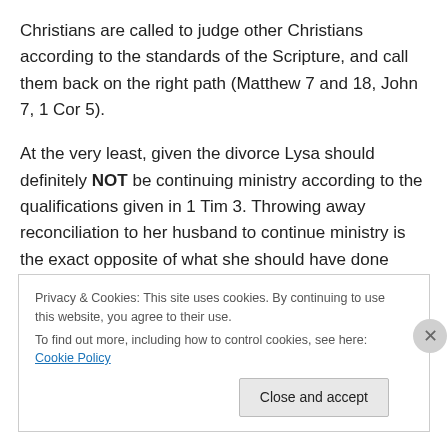Christians are called to judge other Christians according to the standards of the Scripture, and call them back on the right path (Matthew 7 and 18, John 7, 1 Cor 5).
At the very least, given the divorce Lysa should definitely NOT be continuing ministry according to the qualifications given in 1 Tim 3. Throwing away reconciliation to her husband to continue ministry is the exact opposite of what she should have done according the Scripture.
Privacy & Cookies: This site uses cookies. By continuing to use this website, you agree to their use.
To find out more, including how to control cookies, see here: Cookie Policy